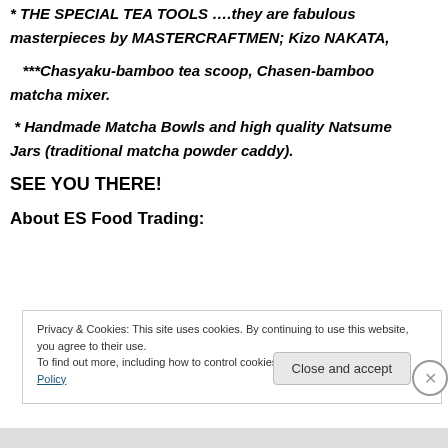* THE SPECIAL TEA TOOLS ….they are fabulous masterpieces by MASTERCRAFTMEN; Kizo NAKATA,
***Chasyaku-bamboo tea scoop, Chasen-bamboo matcha mixer.
* Handmade Matcha Bowls and high quality Natsume Jars (traditional matcha powder caddy).
SEE YOU THERE!
About ES Food Trading:
Privacy & Cookies: This site uses cookies. By continuing to use this website, you agree to their use.
To find out more, including how to control cookies, see here: Cookie Policy
Close and accept